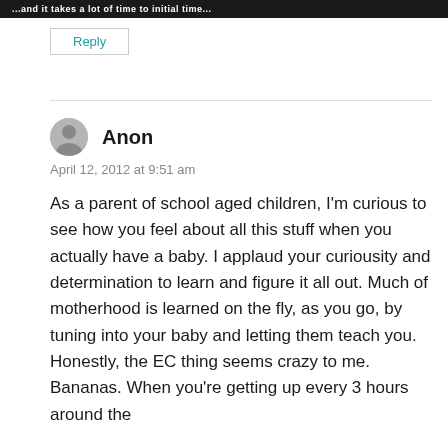...and it takes a lot of time to initial time...
Reply
Anon
April 12, 2012 at 9:51 am
As a parent of school aged children, I'm curious to see how you feel about all this stuff when you actually have a baby. I applaud your curiousity and determination to learn and figure it all out. Much of motherhood is learned on the fly, as you go, by tuning into your baby and letting them teach you. Honestly, the EC thing seems crazy to me. Bananas. When you're getting up every 3 hours around the